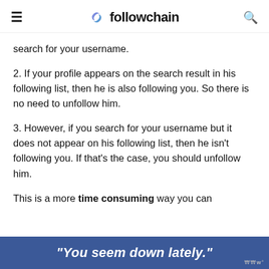followchain
search for your username.
2. If your profile appears on the search result in his following list, then he is also following you. So there is no need to unfollow him.
3. However, if you search for your username but it does not appear on his following list, then he isn't following you. If that's the case, you should unfollow him.
This is a more time consuming way you can
"You seem down lately."